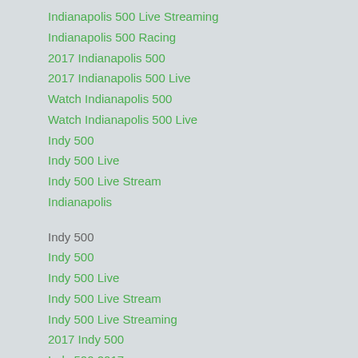Indianapolis 500 Live Streaming
Indianapolis 500 Racing
2017 Indianapolis 500
2017 Indianapolis 500 Live
Watch Indianapolis 500
Watch Indianapolis 500 Live
Indy 500
Indy 500 Live
Indy 500 Live Stream
Indianapolis
Indy 500
Indy 500
Indy 500 Live
Indy 500 Live Stream
Indy 500 Live Streaming
2017 Indy 500
Indy 500 2017
2017 Indy 500 Racing
Indy 500 Racing
2017 Indy 500 Live
Watch Indy 500 Live
Watch Indy 500